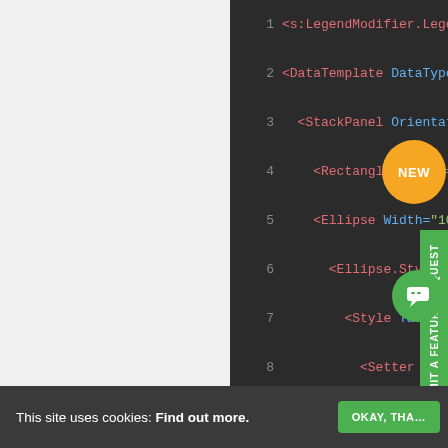[Figure (screenshot): Code editor screenshot showing XML/XAML code with line numbers 1-19. Code contains LegendModifier.LegendItemTemplate, DataTemplate, StackPanel, Rectangle, Ellipse, Ellipse.Style, Style, Setter, and DataTrigger elements. UI overlays include a NEW badge, Submit a Feature Request sidebar, Contact Sales button, chat icon, and cookie consent bar.]